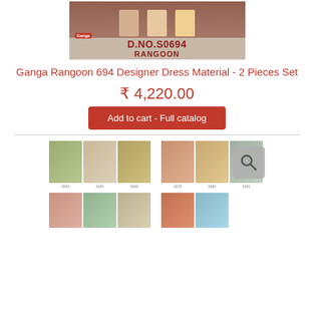[Figure (photo): Product banner image showing Ganga Rangoon D.NO.S0694 designer dress material with models wearing the outfits, with Ganga logo and text overlay]
Ganga Rangoon 694 Designer Dress Material - 2 Pieces Set
₹ 4,220.00
Add to cart - Full catalog
[Figure (photo): Thumbnail gallery showing multiple design variants of the Ganga Rangoon dress material in different colors including green, beige, gold, and rose tones]
[Figure (photo): Thumbnail gallery showing additional design variants with a magnifier/zoom icon overlay, in rose, checkered, and teal color tones]
[Figure (photo): Bottom row partial thumbnails showing additional variants in pink and sage green]
[Figure (photo): Bottom row partial thumbnails on right side showing additional variants in rust and sky blue]